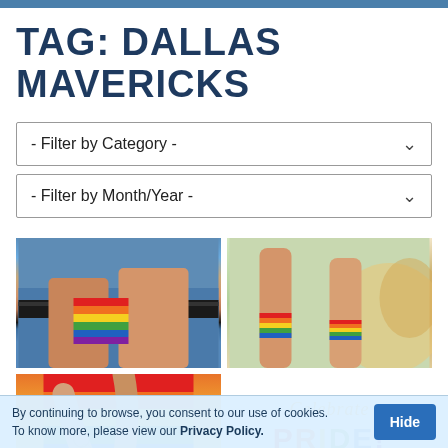TAG: DALLAS MAVERICKS
- Filter by Category -
- Filter by Month/Year -
[Figure (photo): Person in denim jeans holding a hand with rainbow flag painted on palm]
[Figure (photo): Arms raised at a Pride event with rainbow flag painted on wrist, colorful blurred crowd background]
[Figure (photo): Two people linking hands/fingers on a rainbow colored background]
[Figure (illustration): Celebrate Pride graphic with colorful lettering on white background]
[Figure (photo): Rainbow Pride flags closeup]
By continuing to browse, you consent to our use of cookies. To know more, please view our Privacy Policy.